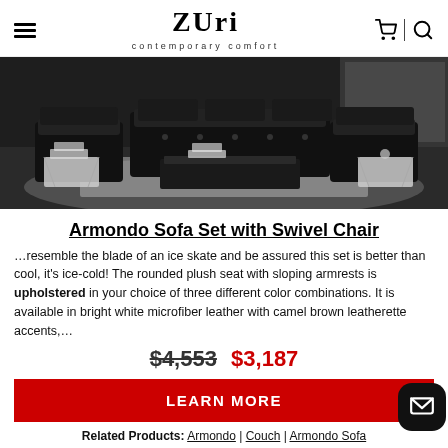Zuri contemporary comfort
[Figure (photo): Armondo sofa set with swivel chair in a modern living room setting, dark leather furniture on a patterned rug]
Armondo Sofa Set with Swivel Chair
…resemble the blade of an ice skate and be assured this set is better than cool, it's ice-cold! The rounded plush seat with sloping armrests is upholstered in your choice of three different color combinations. It is available in bright white microfiber leather with camel brown leatherette accents,…
$4,553  $3,187
LEARN MORE
Related Products: Armondo | Couch | Armondo Sofa